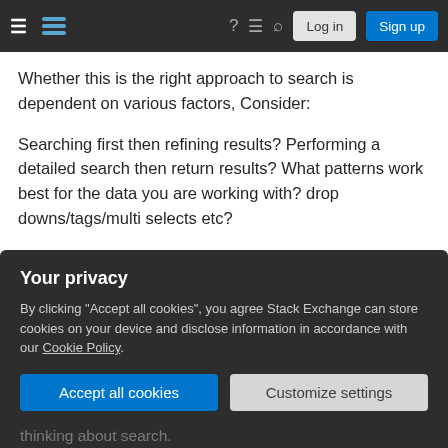Stack Exchange navigation bar with hamburger menu, logo, help, chat, search icons, Log in and Sign up buttons
Whether this is the right approach to search is dependent on various factors, Consider:
Searching first then refining results? Performing a detailed search then return results? What patterns work best for the data you are working with? drop downs/tags/multi selects etc?
My main concern with tags as if they are user defined then you can end up with many similar tags or terms. Equally if they are defined up front and
Your privacy
By clicking "Accept all cookies", you agree Stack Exchange can store cookies on your device and disclose information in accordance with our Cookie Policy.
Accept all cookies   Customize settings
thinking about search.